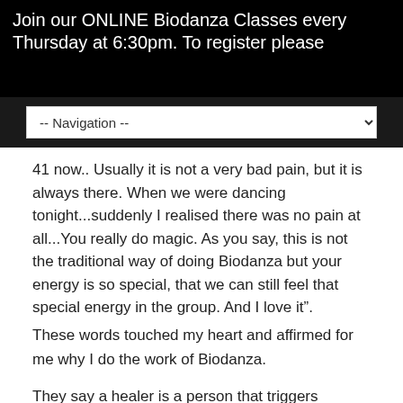Join our ONLINE Biodanza Classes every Thursday at 6:30pm. To register please
-- Navigation --
41 now.. Usually it is not a very bad pain, but it is always there. When we were dancing tonight...suddenly I realised there was no pain at all...You really do magic. As you say, this is not the traditional way of doing Biodanza but your energy is so special, that we can still feel that special energy in the group. And I love it”.
These words touched my heart and affirmed for me why I do the work of Biodanza.
They say a healer is a person that triggers something in you to heal your life. This is the job of a “Conscious Biodanza Facilitator”. This is what I am training the Students in the